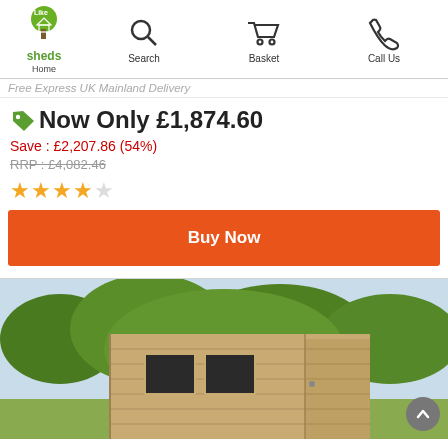Home | Search | Basket | Call Us
Free Express UK Mainland Delivery
Now Only £1,874.60
Save : £2,207.86 (54%)
RRP : £4,082.46
★★★★☆ (4 out of 5 stars)
Buy Now
[Figure (photo): Photo of a wooden garden shed with windows and a door, set against trees and sky background]